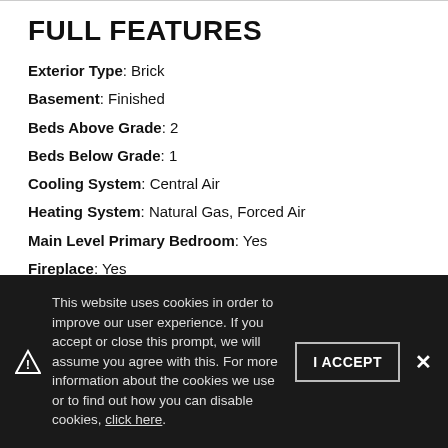FULL FEATURES
Exterior Type: Brick
Basement: Finished
Beds Above Grade: 2
Beds Below Grade: 1
Cooling System: Central Air
Heating System: Natural Gas, Forced Air
Main Level Primary Bedroom: Yes
Fireplace: Yes
Pool: No
This website uses cookies in order to improve our user experience. If you accept or close this prompt, we will assume you agree with this. For more information about the cookies we use or to find out how you can disable cookies, click here.